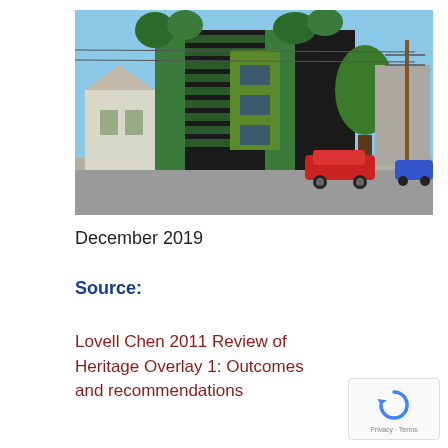[Figure (photo): Photograph of a multi-storey building with green living wall vegetation on its facade, dark metal cladding, surrounded by trees. Street-level view with parked cars including a red car. Blue sky background.]
December 2019
Source:
Lovell Chen 2011 Review of Heritage Overlay 1: Outcomes and recommendations